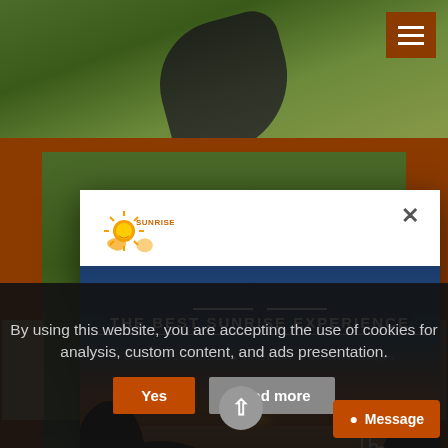[Figure (screenshot): Background website screenshot showing a nature/travel website with orange branding, forest aerial photo at top, and green vegetation sections]
[Figure (screenshot): Modal popup for 'The Best Sunrise Experience' tour with sun logo, sunset/ocean photo, title text, subtitle with duration/request/minimum info, close X button, and cursor/hand icon overlay]
THE BEST SUNRISE EXPERIENCE
Duration 4HYS 5BROKE OF ON REQUEST of MINIMUM 4 passengers
By using this website, you are accepting the use of cookies for analysis, custom content, and ads presentation.
Yes
Read more
Message